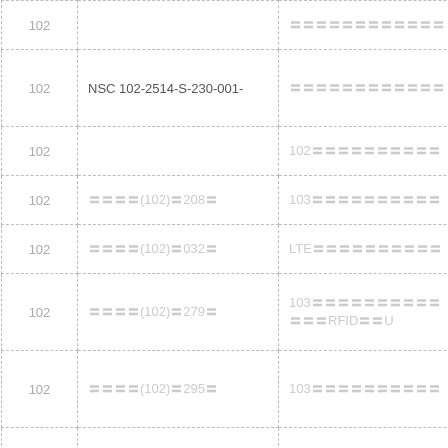|  |  |  |
| --- | --- | --- |
| 102 |  | 〓〓〓〓〓〓〓〓〓〓〓〓 |
| 102 | NSC 102-2514-S-230-001- | 〓〓〓〓〓〓〓〓〓〓〓〓 |
| 102 |  | 102〓〓〓〓〓〓〓〓〓〓 |
| 102 | 〓〓〓〓(102)〓208〓 | 103〓〓〓〓〓〓〓〓〓〓 |
| 102 | 〓〓〓〓(102)〓032〓 | LTE〓〓〓〓〓〓〓〓〓〓 |
| 102 | 〓〓〓〓(102)〓279〓 | 103〓〓〓〓〓〓〓〓〓〓〓〓〓RFID〓〓U |
| 102 | 〓〓〓〓(102)〓295〓 | 103〓〓〓〓〓〓〓〓〓〓 |
| 102 | CS-2-103-01 | 103〓〓〓〓〓〓〓〓〓〓 |
| 101 |  | 915MHz/2.4 |
| 101 |  | 〓〓〓〓〓〓〓〓〓〓〓〓 |